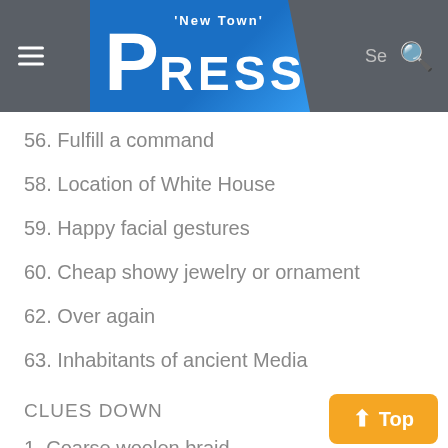'New Town' Press
56. Fulfill a command
58. Location of White House
59. Happy facial gestures
60. Cheap showy jewelry or ornament
62. Over again
63. Inhabitants of ancient Media
CLUES DOWN
1. Coarse woolen braid
2. Gangster Capone